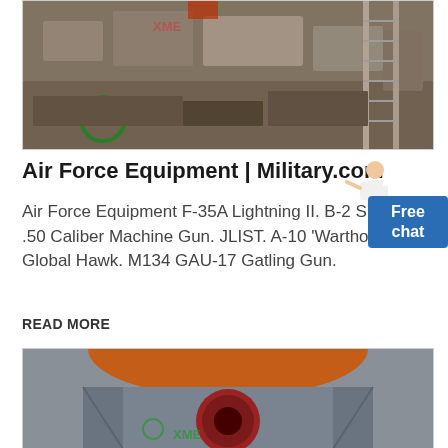[Figure (photo): Aerial or overhead view of military or construction equipment/debris in a yard or lot, with green and red markings visible.]
Air Force Equipment | Military.com
Air Force Equipment F-35A Lightning II. B-2 Spirit. U-2 Dragon Lady. M2 .50 Caliber Machine Gun. JLIST. A-10 'Warthog' Thunderbolt II. RQ-4 Global Hawk. M134 GAU-17 Gatling Gun.
READ MORE
[Figure (photo): Close-up view of a large grey industrial or military equipment housing with a circular orange/red opening or barrel visible, with XME watermark logo in green.]